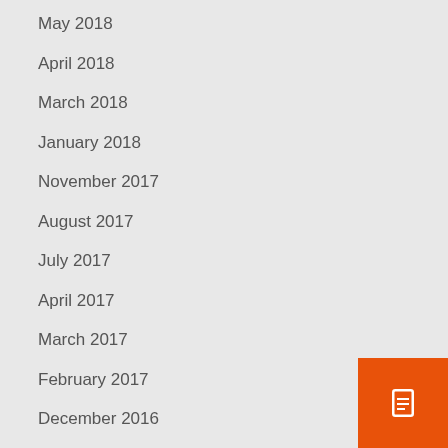May 2018
April 2018
March 2018
January 2018
November 2017
August 2017
July 2017
April 2017
March 2017
February 2017
December 2016
September 2016
August 2016